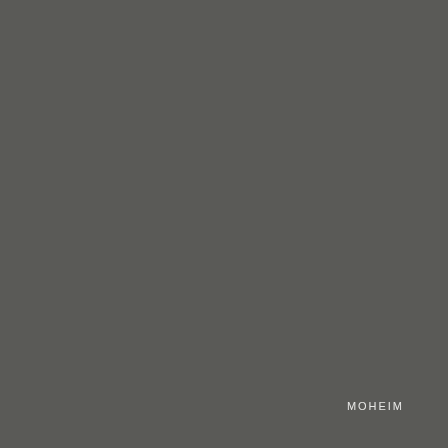[Figure (logo): Dark gray background cover page with 'MOHEIM' logo text in white/light gray at bottom right]
MOHEIM